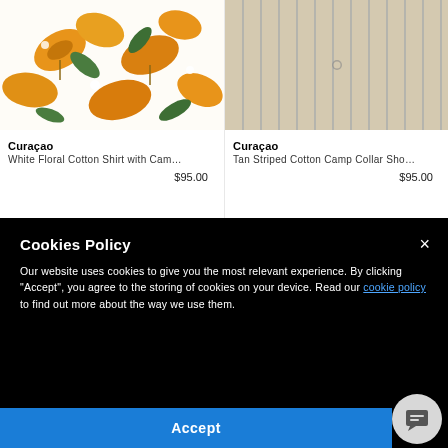[Figure (photo): White floral cotton shirt with tropical leaf pattern in orange and green on white background]
Curaçao
White Floral Cotton Shirt with Cam…
$95.00
[Figure (photo): Tan striped cotton camp collar shirt with thin dark vertical stripes on beige background]
Curaçao
Tan Striped Cotton Camp Collar Sho…
$95.00
Cookies Policy
Our website uses cookies to give you the most relevant experience. By clicking "Accept", you agree to the storing of cookies on your device. Read our cookie policy to find out more about the way we use them.
Accept